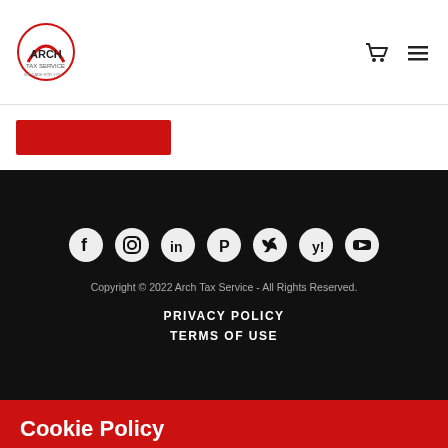[Figure (logo): Arch Tax Service logo - circular red arch design with text]
[Figure (illustration): Shopping cart icon and hamburger menu icon in header navigation]
[Figure (illustration): Red button strip below header]
[Figure (illustration): Social media icons row: Facebook, Instagram, LinkedIn, Pinterest, Twitter, Yelp, YouTube - white on dark circles on black background]
Copyright © 2022 Arch Tax Service - All Rights Reserved.
PRIVACY POLICY
TERMS OF USE
Cookie Policy
This website uses cookies. By continuing to use this site,